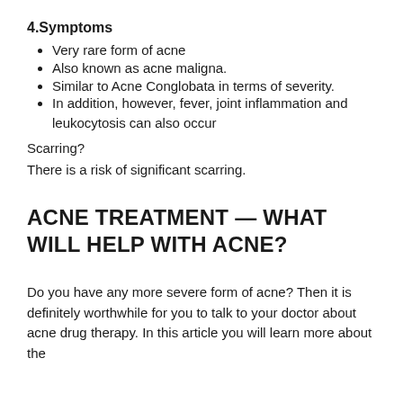4.Symptoms
Very rare form of acne
Also known as acne maligna.
Similar to Acne Conglobata in terms of severity.
In addition, however, fever, joint inflammation and leukocytosis can also occur
Scarring?
There is a risk of significant scarring.
ACNE TREATMENT — WHAT WILL HELP WITH ACNE?
Do you have any more severe form of acne? Then it is definitely worthwhile for you to talk to your doctor about acne drug therapy. In this article you will learn more about the